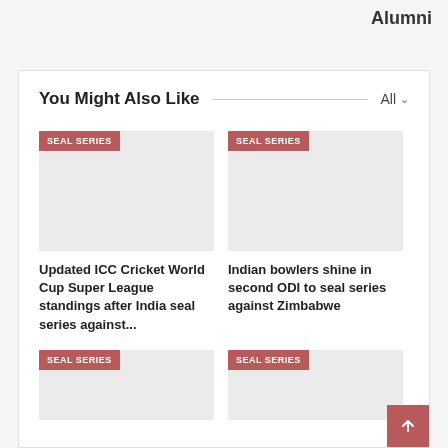Alumni
You Might Also Like
All
[Figure (photo): Image placeholder with SEAL SERIES badge]
Updated ICC Cricket World Cup Super League standings after India seal series against...
[Figure (photo): Image placeholder with SEAL SERIES badge]
Indian bowlers shine in second ODI to seal series against Zimbabwe
[Figure (photo): Image placeholder with SEAL SERIES badge (bottom left)]
[Figure (photo): Image placeholder with SEAL SERIES badge (bottom right)]